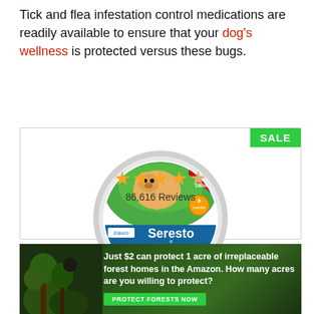Tick and flea infestation control medications are readily available to ensure that your dog's wellness is protected versus these bugs.
[Figure (photo): Seresto Large Dog flea and tick collar product image in circular packaging, shown in a product card with a SALE badge. Below the product image are 4.5 gold stars and '86,616 Reviews'.]
[Figure (photo): Advertisement banner with forest background image on the left and text: 'Just $2 can protect 1 acre of irreplaceable forest homes in the Amazon. How many acres are you willing to protect?' with a green 'PROTECT FORESTS NOW' button.]